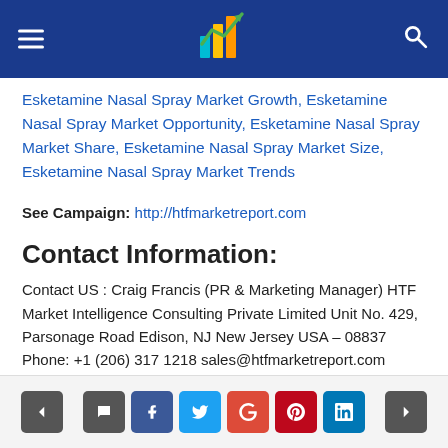HTF Market Intelligence [logo header bar]
Esketamine Nasal Spray Market Growth, Esketamine Nasal Spray Market Opportunity, Esketamine Nasal Spray Market Share, Esketamine Nasal Spray Market Size, Esketamine Nasal Spray Market Trends
See Campaign: http://htfmarketreport.com
Contact Information:
Contact US : Craig Francis (PR & Marketing Manager) HTF Market Intelligence Consulting Private Limited Unit No. 429, Parsonage Road Edison, NJ New Jersey USA – 08837 Phone: +1 (206) 317 1218 sales@htfmarketreport.com
Social share buttons: prev, comment, facebook, twitter, google+, pinterest, linkedin, next